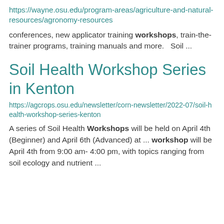https://wayne.osu.edu/program-areas/agriculture-and-natural-resources/agronomy-resources
conferences, new applicator training workshops, train-the-trainer programs, training manuals and more.   Soil ...
Soil Health Workshop Series in Kenton
https://agcrops.osu.edu/newsletter/corn-newsletter/2022-07/soil-health-workshop-series-kenton
A series of Soil Health Workshops will be held on April 4th (Beginner) and April 6th (Advanced) at ... workshop will be April 4th from 9:00 am- 4:00 pm, with topics ranging from soil ecology and nutrient ...